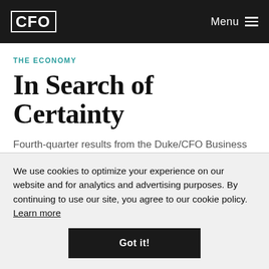CFO | Menu
THE ECONOMY
In Search of Certainty
Fourth-quarter results from the Duke/CFO Business Outlook Survey show the effects of economic uncertainty.
We use cookies to optimize your experience on our website and for analytics and advertising purposes. By continuing to use our site, you agree to our cookie policy. Learn more
Got it!